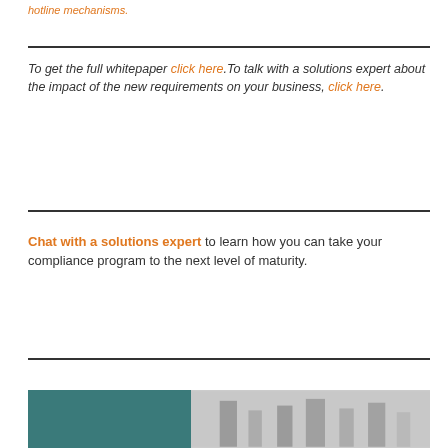hotline mechanisms.
To get the full whitepaper click here. To talk with a solutions expert about the impact of the new requirements on your business, click here.
Chat with a solutions expert to learn how you can take your compliance program to the next level of maturity.
[Figure (photo): Bottom strip showing partial images: a teal/dark green block on the left and a grey image with vertical bar shapes on the right]